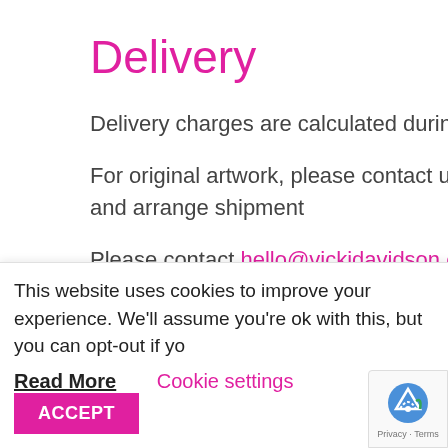Delivery
Delivery charges are calculated during checkout.
For original artwork, please contact us at hello@vickidavidson.com to obtain a quote and arrange shipment
Please contact hello@vickidavidson.com to arrange delivery to countries other than UK or USA
Any customs or import duties that may occur for international deliveries will be charged to the customer
This website uses cookies to improve your experience. We'll assume you're ok with this, but you can opt-out if yo
Read More  Cookie settings  ACCEPT